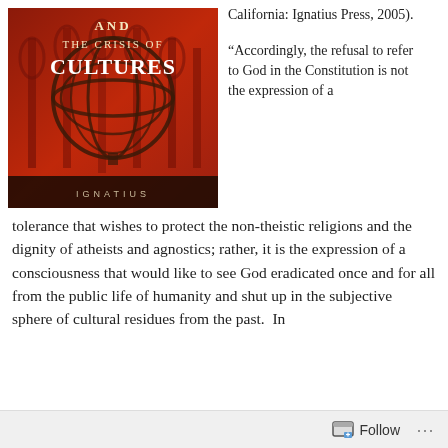[Figure (photo): Book cover for 'AND THE CRISIS OF CULTURES' published by Ignatius Press, featuring a reddish-orange background with a Gothic cathedral interior and an armillary sphere (Atlas globe), with text 'AND THE CRISIS OF CULTURES' and 'IGNATIUS' at the bottom.]
California: Ignatius Press, 2005).
“Accordingly, the refusal to refer to God in the Constitution is not the expression of a tolerance that wishes to protect the non-theistic religions and the dignity of atheists and agnostics; rather, it is the expression of a consciousness that would like to see God eradicated once and for all from the public life of humanity and shut up in the subjective sphere of cultural residues from the past. In
Follow …